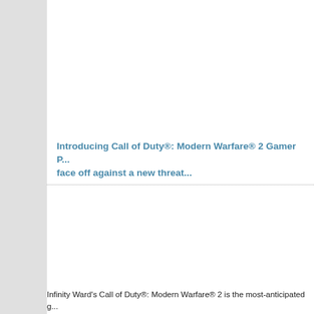Introducing Call of Duty®: Modern Warfare® 2 Gamer P... face off against a new threat...
Infinity Ward's Call of Duty®: Modern Warfare® 2 is the most-anticipated g... sequel to the best-selling first-person action game of all time, Modern Wa...